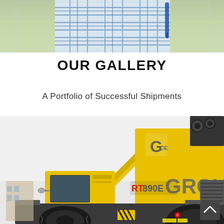[Figure (photo): Person in plaid shirt holding a blue pen or marker, cropped to upper body, outdoor background]
OUR GALLERY
A Portfolio of Successful Shipments
[Figure (photo): Grove RT890E rough terrain crane, yellow, photographed from the front-side angle showing the cab, boom, and undercarriage with large rubber tires]